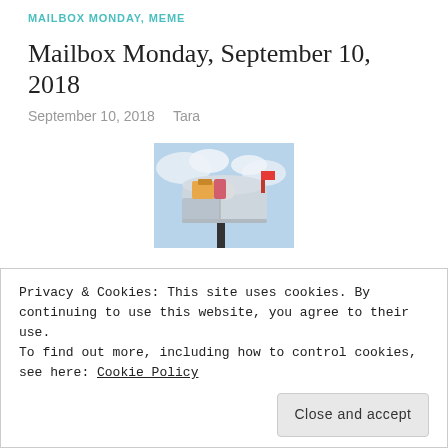MAILBOX MONDAY, MEME
Mailbox Monday, September 10, 2018
September 10, 2018   Tara
[Figure (photo): A silver mailbox overflowing with packages and mail, on a post against a blue sky background]
This week I received my Page 1 Books subscription, my bookcase.club subscription and my BOTM
Privacy & Cookies: This site uses cookies. By continuing to use this website, you agree to their use.
To find out more, including how to control cookies, see here: Cookie Policy
Close and accept